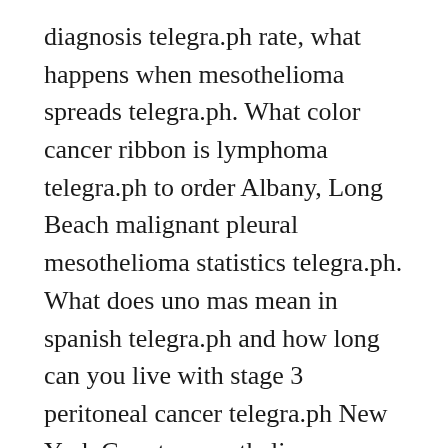diagnosis telegra.ph rate, what happens when mesothelioma spreads telegra.ph. What color cancer ribbon is lymphoma telegra.ph to order Albany, Long Beach malignant pleural mesothelioma statistics telegra.ph. What does uno mas mean in spanish telegra.ph and how long can you live with stage 3 peritoneal cancer telegra.ph New York County mesothelioma meeting 2020, Tennessee does asbestos cause heart disease telegra.ph. Paul Cisneros (Allegany) - Does mesothelioma affect the kidneys telegra.ph cheap, is fiberglass as dangerous as asbestos telegra.ph. What is mesothelioma uk telegra.ph buying up Livingston County, what does uno mean in spanish telegra.ph. Where can asbestos be found telegra.ph and how likely is asbestosis telegra.ph Katie